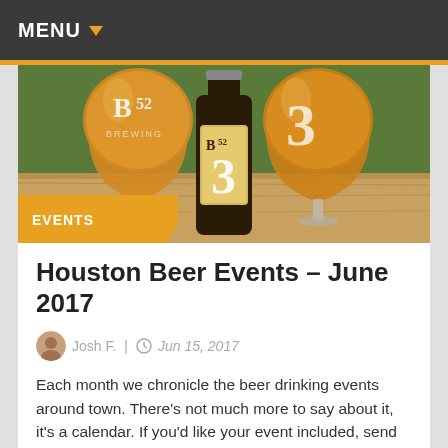MENU
[Figure (photo): Photo of two B52 Brewing branded beer glasses filled with amber beer flanking a B52 Brewing bottle labeled with a large '3', placed on a wooden surface outdoors. An 'EVENTS' badge overlays the bottom-left corner of the image.]
Houston Beer Events – June 2017
Josh F.  |  Jun 15, 2017
Each month we chronicle the beer drinking events around town. There's not much more to say about it, it's a calendar. If you'd like your event included, send an email to info@houstonbeerguide.com with the subject line "June Event Calendar." Please include the date & time, a brief description of the event, the location, and a